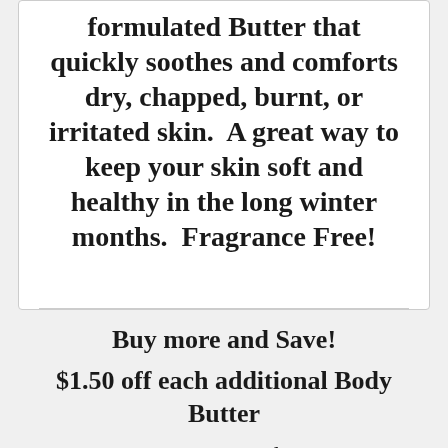formulated Butter that quickly soothes and comforts dry, chapped, burnt, or irritated skin.  A great way to keep your skin soft and healthy in the long winter months.  Fragrance Free!
Buy more and Save!
$1.50 off each additional Body Butter
Mix & Match!